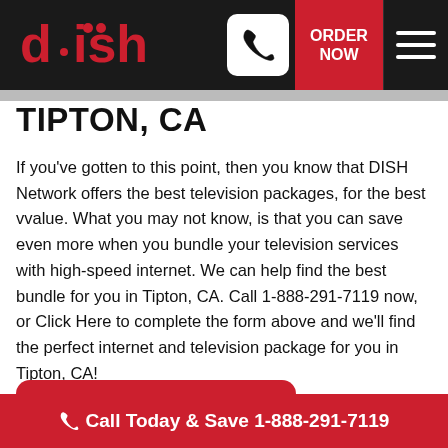DISH — ORDER NOW
TIPTON, CA
If you've gotten to this point, then you know that DISH Network offers the best television packages, for the best vvalue. What you may not know, is that you can save even more when you bundle your television services with high-speed internet. We can help find the best bundle for you in Tipton, CA. Call 1-888-291-7119 now, or Click Here to complete the form above and we'll find the perfect internet and television package for you in Tipton, CA!
Call Today & Save 1-888-291-7119